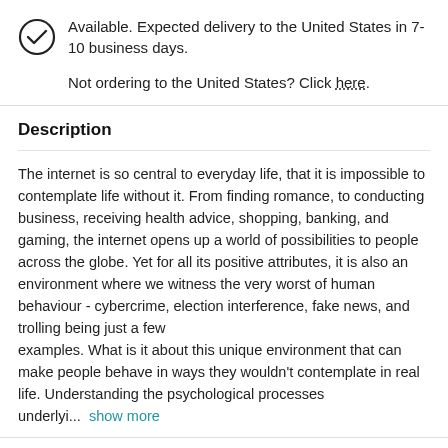Available. Expected delivery to the United States in 7-10 business days.
Not ordering to the United States? Click here.
Description
The internet is so central to everyday life, that it is impossible to contemplate life without it. From finding romance, to conducting business, receiving health advice, shopping, banking, and gaming, the internet opens up a world of possibilities to people across the globe. Yet for all its positive attributes, it is also an environment where we witness the very worst of human behaviour - cybercrime, election interference, fake news, and trolling being just a few examples. What is it about this unique environment that can make people behave in ways they wouldn't contemplate in real life. Understanding the psychological processes underlyi... show more
Product details